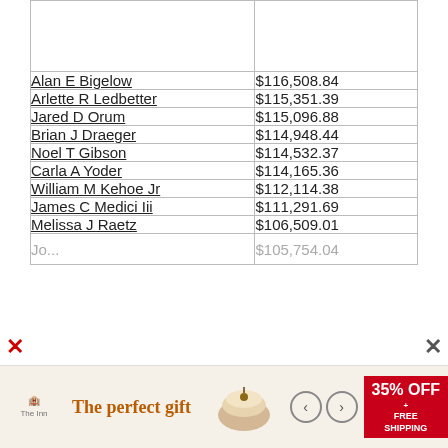| Name | Amount |
| --- | --- |
| Alan E Bigelow | $116,508.84 |
| Arlette R Ledbetter | $115,351.39 |
| Jared D Orum | $115,096.88 |
| Brian J Draeger | $114,948.44 |
| Noel T Gibson | $114,532.37 |
| Carla A Yoder | $114,165.36 |
| William M Kehoe Jr | $112,114.38 |
| James C Medici Iii | $111,291.69 |
| Melissa J Raetz | $106,509.01 |
| [partial] | $105,754.04 (partial) |
[Figure (infographic): Advertisement banner at bottom: 'The perfect gift' with 35% OFF + FREE SHIPPING promotion, showing food product image with navigation arrows.]